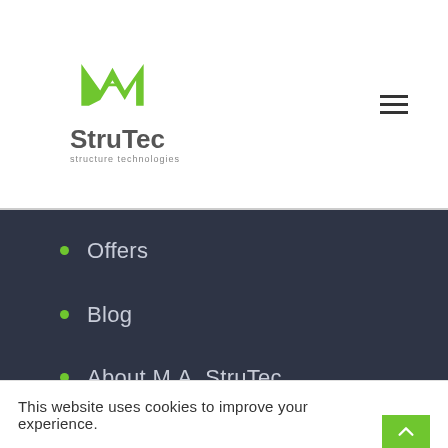[Figure (logo): M.A. StruTec structure technologies logo with green M-A letterform and grey text]
Offers
Blog
About M.A. StruTec
Contact Us
Cookies Policy
Privacy Policy
Terms & Conditions
This website uses cookies to improve your experience.